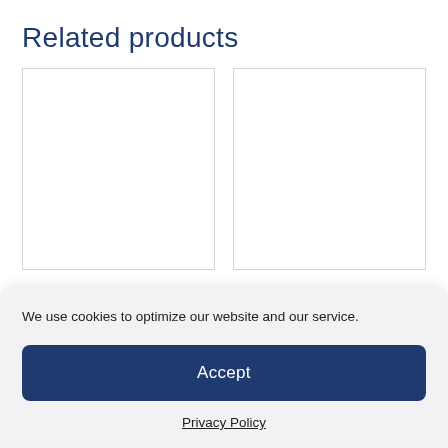Related products
[Figure (other): Empty white product image placeholder box (left)]
[Figure (other): Empty white product image placeholder box (right)]
2000H x 900W v
2000H x 1200W v
We use cookies to optimize our website and our service.
Accept
Privacy Policy